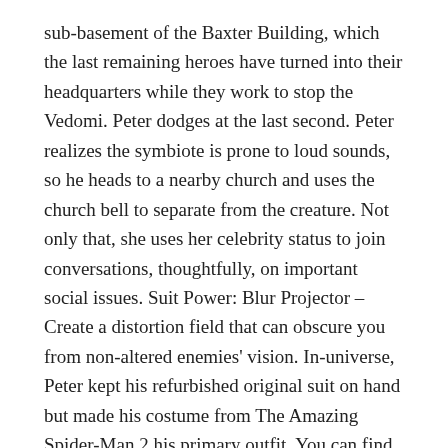sub-basement of the Baxter Building, which the last remaining heroes have turned into their headquarters while they work to stop the Vedomi. Peter dodges at the last second. Peter realizes the symbiote is prone to loud sounds, so he heads to a nearby church and uses the church bell to separate from the creature. Not only that, she uses her celebrity status to join conversations, thoughtfully, on important social issues. Suit Power: Blur Projector – Create a distortion field that can obscure you from non-altered enemies' vision. In-universe, Peter kept his refurbished original suit on hand but made his costume from The Amazing Spider-Man 2 his primary outfit. You can find these online, at a costume shop, or at any ballet-specific retailers. The Fear Itself suit can turn Spider-Man into an absolute monster once fists start flying. You can choose us for buying a costume for your Halloween day.
...